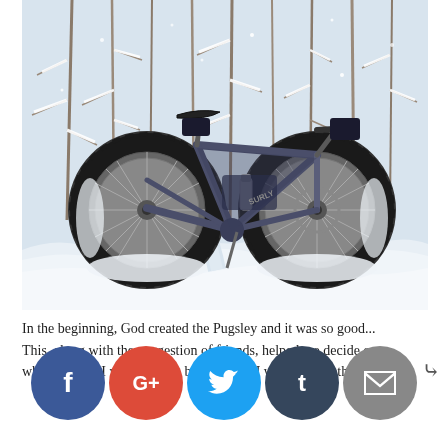[Figure (photo): A fat-tire bicycle (Surly Pugsley) parked in deep snow in a winter forest. Snow-covered trees in the background, thick black tires, dark frame, water bottle in frame cage.]
In the beginning, God created the Pugsley and it was so good... This, along with the suggestion of friends, helped me decide on what monster I was going to bring home. I wanted something that